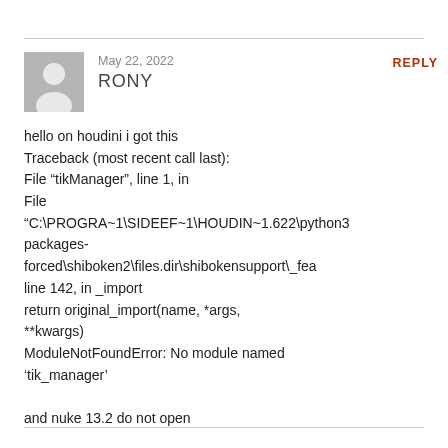May 22, 2022
RONY
REPLY
hello on houdini i got this Traceback (most recent call last): File “tikManager”, line 1, in File “C:\PROGRA~1\SIDEEF~1\HOUDIN~1.622\python3 packages-forced\shiboken2\files.dir\shibokensupport\_fea line 142, in _import return original_import(name, *args, **kwargs) ModuleNotFoundError: No module named ‘tik_manager’

and nuke 13.2 do not open